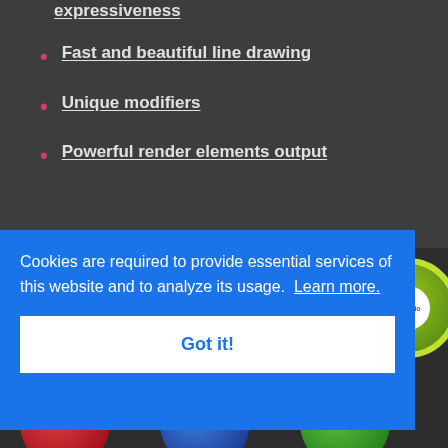expressiveness
Fast and beautiful line drawing
Unique modifiers
Powerful render elements output
Cookies are required to provide essential services of this website and to analyze its usage.  Learn more.
Got it!